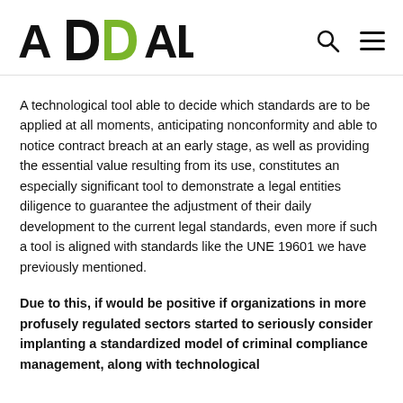[Figure (logo): Addalia logo with black and green lettering]
A technological tool able to decide which standards are to be applied at all moments, anticipating nonconformity and able to notice contract breach at an early stage, as well as providing the essential value resulting from its use, constitutes an especially significant tool to demonstrate a legal entities diligence to guarantee the adjustment of their daily development to the current legal standards, even more if such a tool is aligned with standards like the UNE 19601 we have previously mentioned.
Due to this, if would be positive if organizations in more profusely regulated sectors started to seriously consider implanting a standardized model of criminal compliance management, along with technological